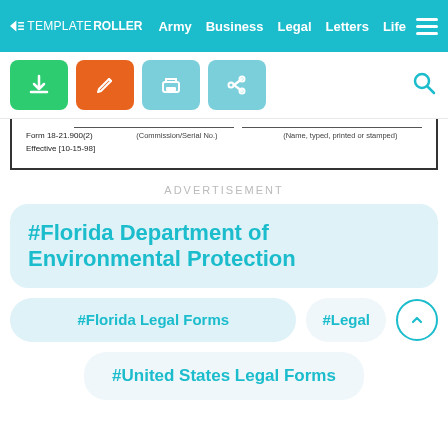TEMPLATEROLLER  Army  Business  Legal  Letters  Life
[Figure (screenshot): Toolbar with download, edit, print, share buttons and search icon]
Form 18-21.900(2)
Effective [10-15-98]
(Commission/Serial No.)
(Name, typed, printed or stamped)
ADVERTISEMENT
#Florida Department of Environmental Protection
#Florida Legal Forms
#Legal
#United States Legal Forms